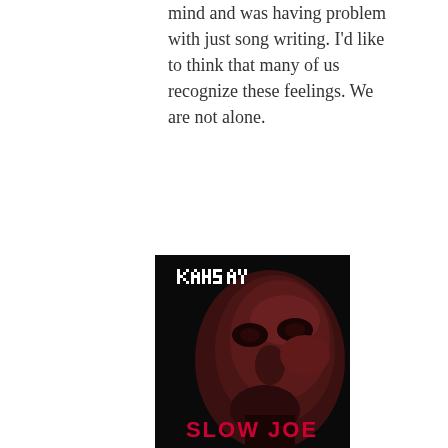mind and was having problem with just song writing. I'd like to think that many of us recognize these feelings. We are not alone.
[Figure (illustration): Album cover for 'Slow Joe' by Kahsay. Black background with a close-up photo of a man's face in dark red/brown tones. 'KAHSAY' appears in pixelated white dot-matrix font at the top, and 'SLOW JOE' in bold red text at the bottom.]
Slow Joe